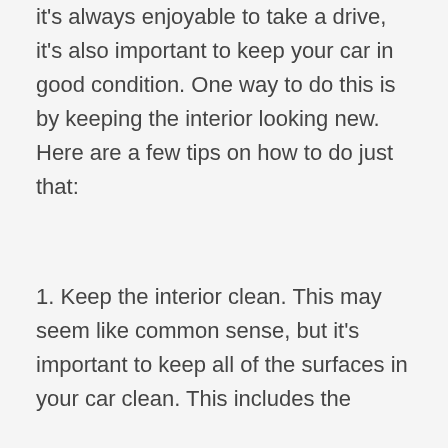it's always enjoyable to take a drive, it's also important to keep your car in good condition. One way to do this is by keeping the interior looking new. Here are a few tips on how to do just that:
1. Keep the interior clean. This may seem like common sense, but it's important to keep all of the surfaces in your car clean. This includes the